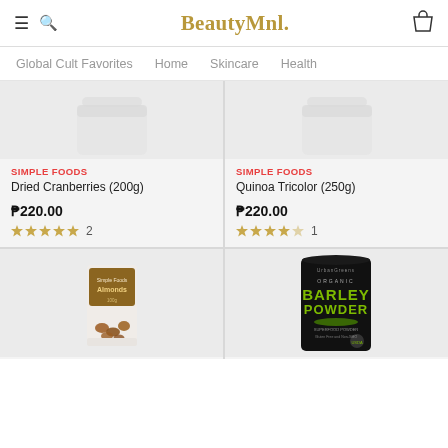BeautyMnl.
Global Cult Favorites | Home | Skincare | Health
SIMPLE FOODS
Dried Cranberries (200g)
₱220.00
★★★★★ 2
SIMPLE FOODS
Quinoa Tricolor (250g)
₱220.00
★★★★★ 1
[Figure (photo): Almonds product package - Simple Foods brand, white pouch with brown label]
[Figure (photo): Organic Barley Powder - UrbanGreens brand, black package with green text]